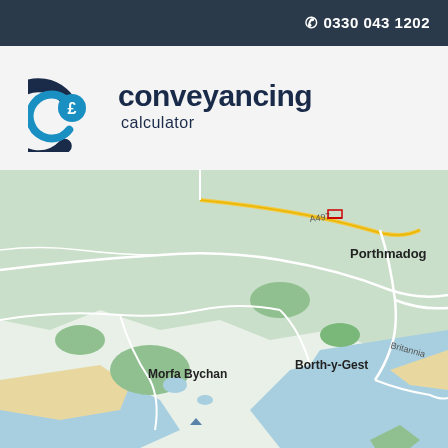☎ 0330 043 1202
[Figure (logo): Conveyancing Calculator logo with stylized C and pound sign icon, text 'conveyancing calculator']
[Figure (map): Google Maps style map showing Porthmadog area in Wales, including locations Morfa Bychan, Borth-y-Gest, Porthmadog, road A497, Britannia bridge/road, with coastal waterways and green land areas]